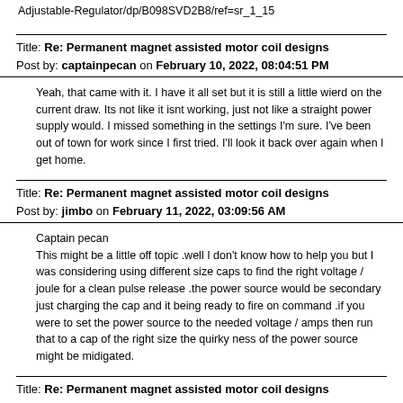Adjustable-Regulator/dp/B098SVD2B8/ref=sr_1_15
Title: Re: Permanent magnet assisted motor coil designs
Post by: captainpecan on February 10, 2022, 08:04:51 PM
Yeah, that came with it. I have it all set but it is still a little wierd on the current draw. Its not like it isnt working, just not like a straight power supply would. I missed something in the settings I'm sure. I've been out of town for work since I first tried. I'll look it back over again when I get home.
Title: Re: Permanent magnet assisted motor coil designs
Post by: jimbo on February 11, 2022, 03:09:56 AM
Captain pecan
This might be a little off topic .well I don't know how to help you but I was considering using different size caps to find the right voltage / joule for a clean pulse release .the power source would be secondary just charging the cap and it being ready to fire on command .if you were to set the power source to the needed voltage / amps then run that to a cap of the right size the quirky ness of the power source might be midigated.
Title: Re: Permanent magnet assisted motor coil designs
Post by: jimbo on February 11, 2022, 03:31:21 AM